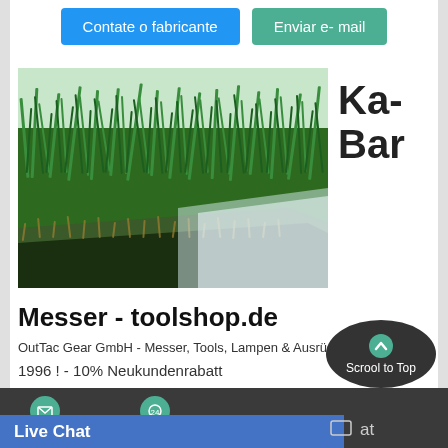Contate o fabricante
Enviar e- mail
[Figure (photo): Close-up photo of a corner of artificial green grass turf on white background]
Ka-
Bar
Messer - toolshop.de
OutTac Gear GmbH - Messer, Tools, Lampen & Ausrüs...
1996 ! - 10% Neukundenrabatt
Scrool to Top
Live Chat
at